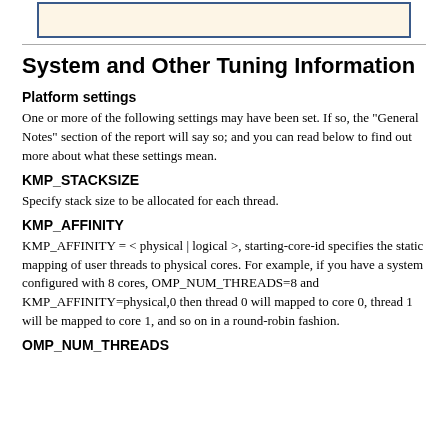[Figure (other): Partial top image with beige/cream background inside a blue-bordered rectangle, cropped at top of page]
System and Other Tuning Information
Platform settings
One or more of the following settings may have been set. If so, the "General Notes" section of the report will say so; and you can read below to find out more about what these settings mean.
KMP_STACKSIZE
Specify stack size to be allocated for each thread.
KMP_AFFINITY
KMP_AFFINITY = < physical | logical >, starting-core-id specifies the static mapping of user threads to physical cores. For example, if you have a system configured with 8 cores, OMP_NUM_THREADS=8 and KMP_AFFINITY=physical,0 then thread 0 will mapped to core 0, thread 1 will be mapped to core 1, and so on in a round-robin fashion.
OMP_NUM_THREADS